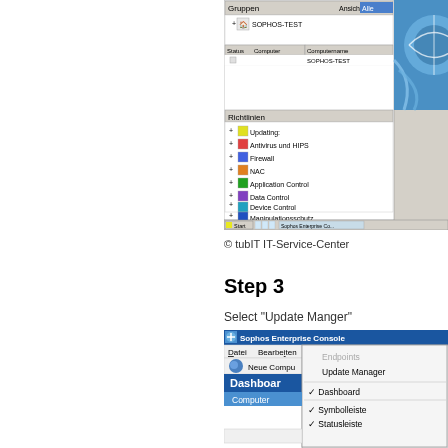[Figure (screenshot): Sophos Enterprise Console screenshot showing Gruppen panel with SOPHOS-TEST group, Richtlinien panel with Updating, Antivirus und HIPS, Firewall, NAC, Application Control, Data Control, Device Control, Manipulationsschutz. Taskbar at bottom with Start button and Sophos Enterprise Co... window.]
© tubIT IT-Service-Center
Step 3
Select "Update Manger"
[Figure (screenshot): Sophos Enterprise Console menu screenshot showing Datei, Bearbeiten, Ansicht, Maßnahmen menu. Ansicht menu open showing: Endpoints (greyed), Update Manager, Dashboard (checked), Symbolleiste (checked), Statusleiste (checked). Dashboard and Computer buttons visible on left side. Verwaltet button at bottom.]